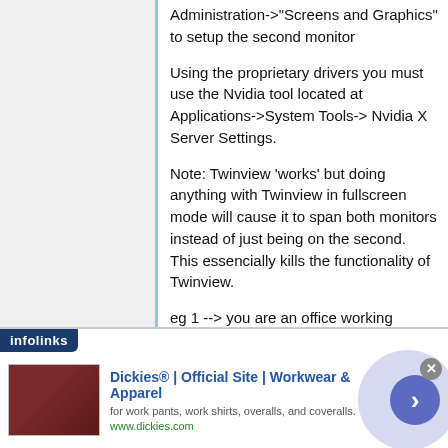Administration->"Screens and Graphics" to setup the second monitor
Using the proprietary drivers you must use the Nvidia tool located at Applications->System Tools-> Nvidia X Server Settings.
Note: Twinview 'works' but doing anything with Twinview in fullscreen mode will cause it to span both monitors instead of just being on the second. This essencially kills the functionality of Twinview.
eg 1 --> you are an office working bringing your notebook to work to show
[Figure (screenshot): Advertisement banner for Dickies workwear with infolinks branding, showing a product image, title 'Dickies® | Official Site | Workwear & Apparel', description text, and navigation arrow button.]